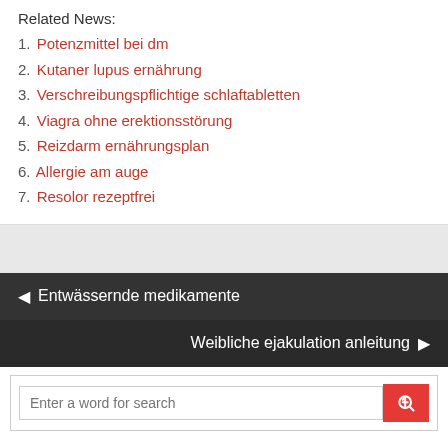Related News:
1. Potenzmittel bei dm
2. Kutaner lupus ernährung
3. Verschreibungspflichtige schlaftabletten
4. Viagra ohne erektionsstörung
5. Reizdarm ernährungsplan
6. Allergie am auge
7. Resolor rezeptfrei
◄ Entwässernde medikamente
Weibliche ejakulation anleitung ►
Enter a word for search